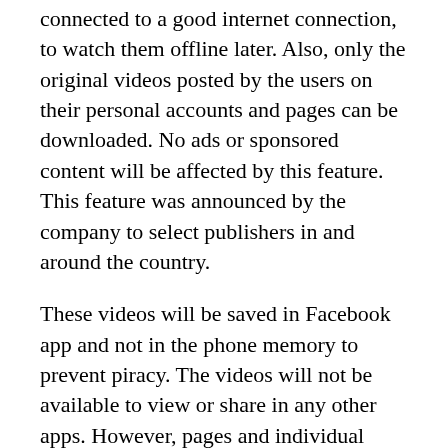connected to a good internet connection, to watch them offline later. Also, only the original videos posted by the users on their personal accounts and pages can be downloaded. No ads or sponsored content will be affected by this feature. This feature was announced by the company to select publishers in and around the country.
These videos will be saved in Facebook app and not in the phone memory to prevent piracy. The videos will not be available to view or share in any other apps. However, pages and individual accounts can opt not to make the videos available offline if they want to. This is yet another attempt by the company to reach out to the countries with costly data rates and slow internet speeds. Last year, the company also launched a stripped-down version of its application called the Facebook Lite, and it is growing faster than the original app. In March, it also